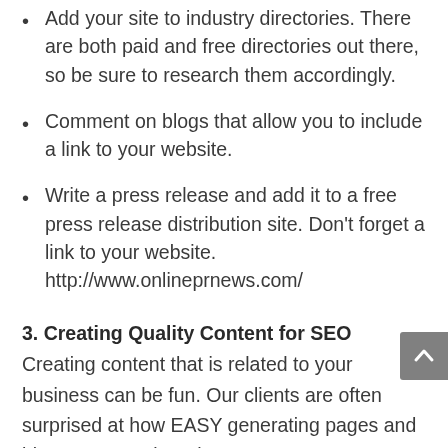Add your site to industry directories. There are both paid and free directories out there, so be sure to research them accordingly.
Comment on blogs that allow you to include a link to your website.
Write a press release and add it to a free press release distribution site. Don’t forget a link to your website. http://www.onlineprnews.com/
3. Creating Quality Content for SEO
Creating content that is related to your business can be fun. Our clients are often surprised at how EASY generating pages and blog posts can be. The more pages your website has, the more powerful of a resource it is to Google and your clients. Sometimes all you need is to sit down with a cup of coffee and